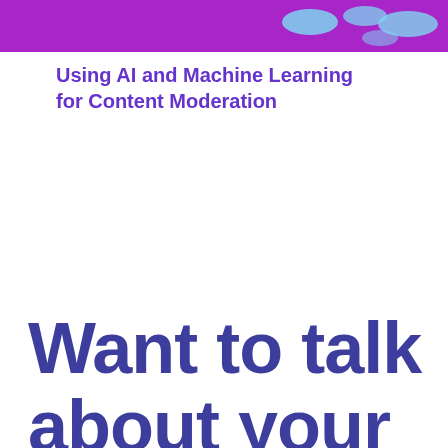[Figure (illustration): Purple/magenta banner header with light blue oval/ellipse decorative shapes on the right side]
Using AI and Machine Learning for Content Moderation
Want to talk about your